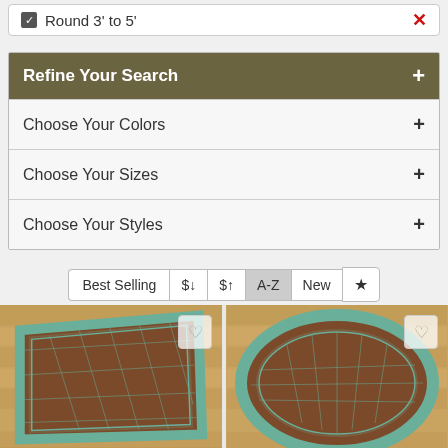Round 3' to 5' ✕
Refine Your Search +
Choose Your Colors +
Choose Your Sizes +
Choose Your Styles +
Best Selling  $↓  $↑  A-Z  New  ★
[Figure (photo): A brown and teal rectangular area rug on hardwood floor, seen from an angle, with a geometric diamond pattern and Greek key border.]
[Figure (photo): A brown and teal round area rug on hardwood floor, with a geometric pattern and Greek key border.]